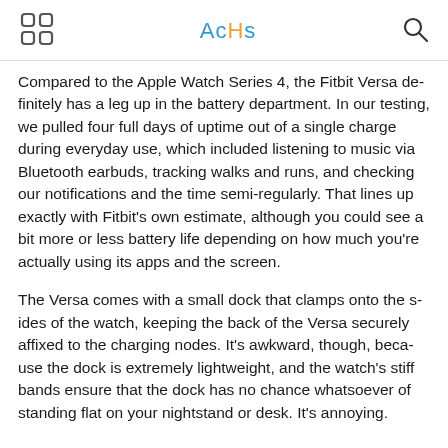AcHs
Compared to the Apple Watch Series 4, the Fitbit Versa definitely has a leg up in the battery department. In our testing, we pulled four full days of uptime out of a single charge during everyday use, which included listening to music via Bluetooth earbuds, tracking walks and runs, and checking our notifications and the time semi-regularly. That lines up exactly with Fitbit's own estimate, although you could see a bit more or less battery life depending on how much you're actually using its apps and the screen.
The Versa comes with a small dock that clamps onto the sides of the watch, keeping the back of the Versa securely affixed to the charging nodes. It's awkward, though, because the dock is extremely lightweight, and the watch's stiff bands ensure that the dock has no chance whatsoever of standing flat on your nightstand or desk. It's annoying.